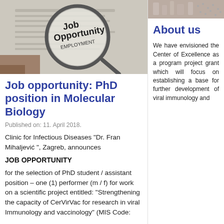[Figure (photo): Newspaper with magnifying glass showing 'Job Opportunity Employment']
Job opportunity: PhD position in Molecular Biology
Published on: 11. April 2018.
Clinic for Infectious Diseases “Dr. Fran Mihaljević ”, Zagreb, announces
JOB OPPORTUNITY
for the selection of PhD student / assistant position – one (1) performer (m / f) for work on a scientific project entitled: “Strengthening the capacity of CerVirVac for research in viral Immunology and vaccinology” (MIS Code:
[Figure (photo): Lab/science related photo in sidebar top]
About us
We have envisioned the Center of Excellence as a program project grant which will focus on establishing a base for further development of viral immunology and